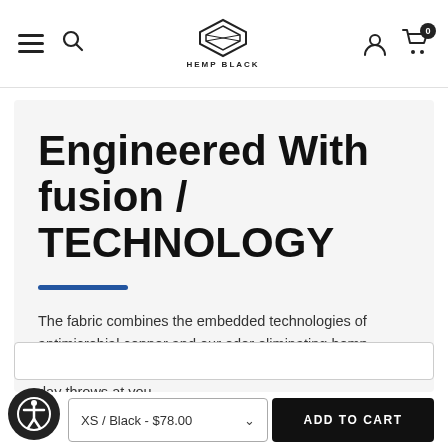Hemp Black navigation bar with hamburger menu, search, logo, account, and cart (0 items)
Engineered With fusion / TECHNOLOGY
The fabric combines the embedded technologies of antimicrobial copper and our odor eliminating hemp extract to give you peace of mind - no matter what the day throws at you.
XS / Black - $78.00
ADD TO CART